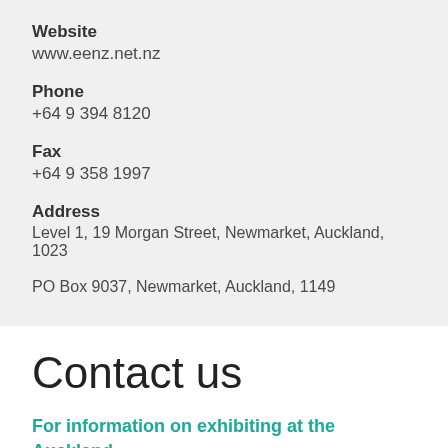Website
www.eenz.net.nz
Phone
+64 9 394 8120
Fax
+64 9 358 1997
Address
Level 1, 19 Morgan Street, Newmarket, Auckland, 1023
PO Box 9037, Newmarket, Auckland, 1149
Contact us
For information on exhibiting at the Auckland Home Show, please contact: